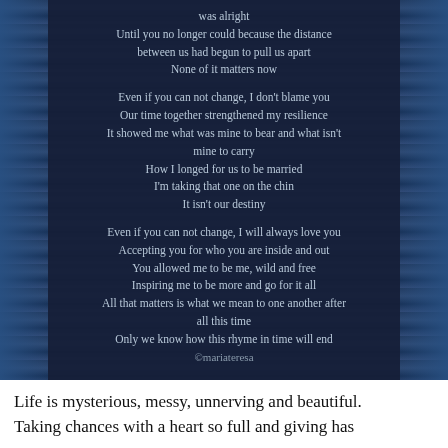was alright
Until you no longer could because the distance
between us had begun to pull us apart
None of it matters now

Even if you can not change, I don't blame you
Our time together strengthened my resilience
It showed me what was mine to bear and what isn't
mine to carry
How I longed for us to be married
I'm taking that one on the chin
It isn't our destiny

Even if you can not change, I will always love you
Accepting you for who you are inside and out
You allowed me to be me, wild and free
Inspiring me to be more and go for it all
All that matters is what we mean to one another after
all this time
Only we know how this rhyme in time will end
©mariateresa
Life is mysterious, messy, unnerving and beautiful. Taking chances with a heart so full and giving has